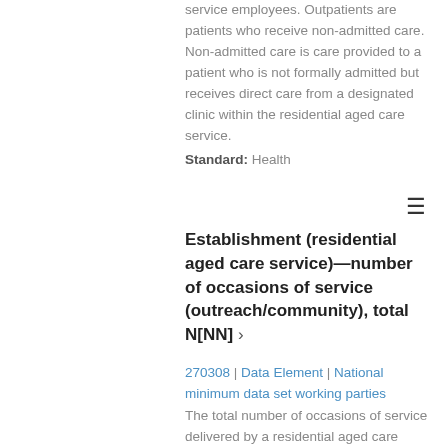service employees. Outpatients are patients who receive non-admitted care. Non-admitted care is care provided to a patient who is not formally admitted but receives direct care from a designated clinic within the residential aged care service. Standard: Health
Establishment (residential aged care service)—number of occasions of service (outreach/community), total N[NN] ›
270308 | Data Element | National minimum data set working parties
The total number of occasions of service delivered by a residential aged care service employees to the patient to the number of occasions the...